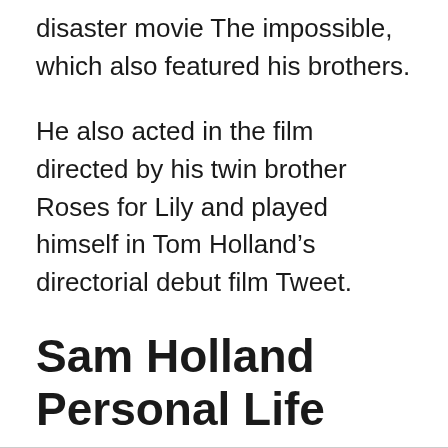disaster movie The impossible, which also featured his brothers.
He also acted in the film directed by his twin brother Roses for Lily and played himself in Tom Holland’s directorial debut film Tweet.
Sam Holland Personal Life